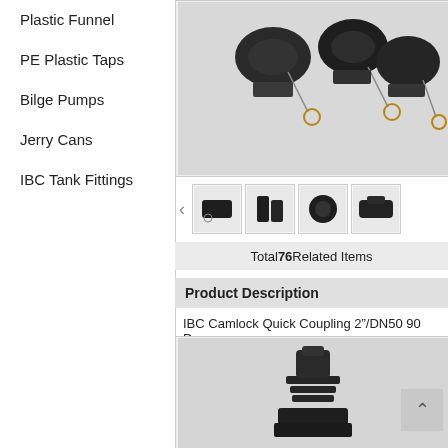Plastic Funnel
PE Plastic Taps
Bilge Pumps
Jerry Cans
IBC Tank Fittings
[Figure (photo): Dark plastic fittings/caps with key rings on a white background]
[Figure (photo): Thumbnail: camlock fitting side view]
[Figure (photo): Thumbnail: camlock coupling pair]
[Figure (photo): Thumbnail: threaded cap/collar]
[Figure (photo): Thumbnail: camlock adapter]
Total 76 Related Items
Product Description
IBC Camlock Quick Coupling 2"/DN50 90 De
[Figure (photo): Black plastic hose barb fitting / IBC camlock coupling, bottom view]